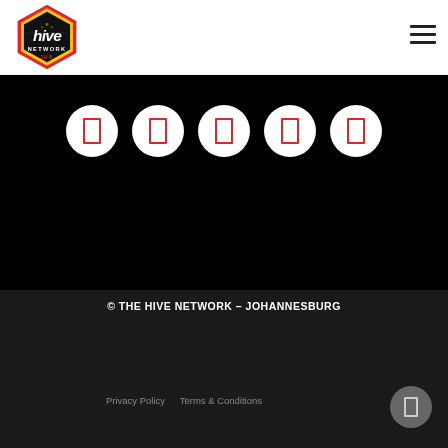[Figure (logo): Hive Network JHB logo — hexagonal badge with red and yellow border, black text 'hive' with stylized letters, 'NETWORK' and 'JHB' text]
[Figure (other): Five white circles on black background, each containing a small red rectangular social media icon (Facebook, Twitter/X, Instagram, LinkedIn, YouTube or similar)]
© THE HIVE NETWORK – JOHANNESBURG
Privacy Policy   Terms & Conditions